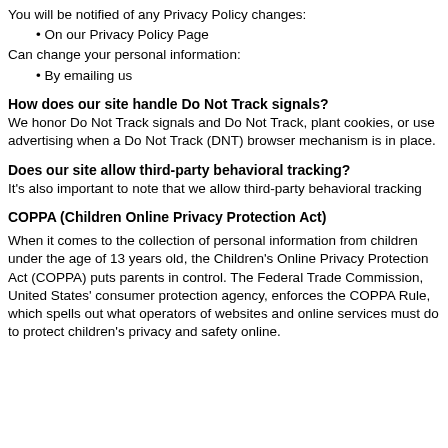You will be notified of any Privacy Policy changes:
• On our Privacy Policy Page
Can change your personal information:
• By emailing us
How does our site handle Do Not Track signals?
We honor Do Not Track signals and Do Not Track, plant cookies, or use advertising when a Do Not Track (DNT) browser mechanism is in place.
Does our site allow third-party behavioral tracking?
It's also important to note that we allow third-party behavioral tracking
COPPA (Children Online Privacy Protection Act)
When it comes to the collection of personal information from children under the age of 13 years old, the Children's Online Privacy Protection Act (COPPA) puts parents in control. The Federal Trade Commission, United States' consumer protection agency, enforces the COPPA Rule, which spells out what operators of websites and online services must do to protect children's privacy and safety online.